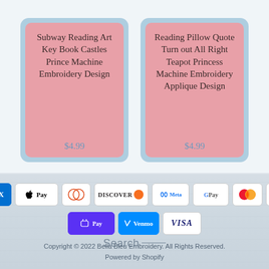[Figure (screenshot): Two product cards on light blue background. Left card: 'Subway Reading Art Key Book Castles Prince Machine Embroidery Design' priced at $4.99. Right card: 'Reading Pillow Quote Turn out All Right Teapot Princess Machine Embroidery Applique Design' priced at $4.99. Both cards have pink/rose inner background.]
[Figure (infographic): Payment method logos in two rows: AMEX, Apple Pay, Diners Club, Discover, Meta Pay, Google Pay, Mastercard, PayPal in first row; Shop Pay, Venmo, Visa in second row.]
Search
Copyright © 2022 Bella Bleu Embroidery. All Rights Reserved.
Powered by Shopify